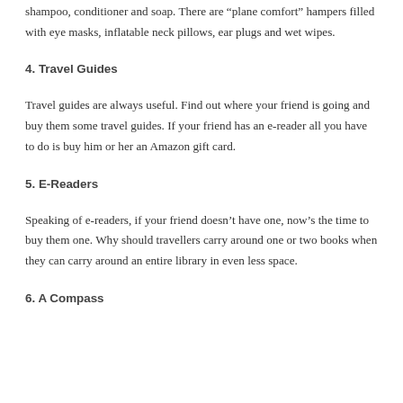shampoo, conditioner and soap. There are “plane comfort” hampers filled with eye masks, inflatable neck pillows, ear plugs and wet wipes.
4. Travel Guides
Travel guides are always useful. Find out where your friend is going and buy them some travel guides. If your friend has an e-reader all you have to do is buy him or her an Amazon gift card.
5. E-Readers
Speaking of e-readers, if your friend doesn’t have one, now’s the time to buy them one. Why should travellers carry around one or two books when they can carry around an entire library in even less space.
6. A Compass